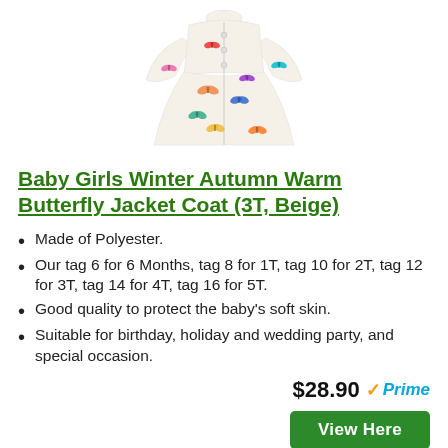[Figure (photo): Baby girl's white winter coat with colorful butterfly print, shown from front, flared skirt style]
Baby Girls Winter Autumn Warm Butterfly Jacket Coat (3T, Beige)
Made of Polyester.
Our tag 6 for 6 Months, tag 8 for 1T, tag 10 for 2T, tag 12 for 3T, tag 14 for 4T, tag 16 for 5T.
Good quality to protect the baby's soft skin.
Suitable for birthday, holiday and wedding party, and special occasion.
$28.90 Prime
View Here